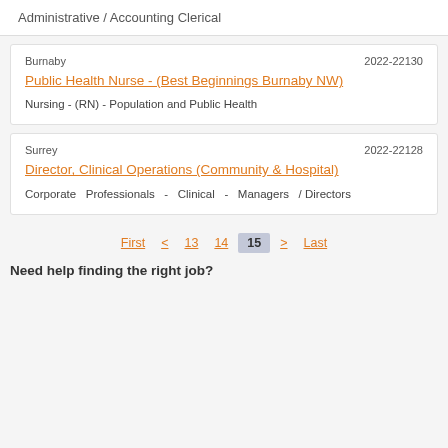Administrative / Accounting Clerical
Burnaby	2022-22130
Public Health Nurse - (Best Beginnings Burnaby NW)
Nursing - (RN) - Population and Public Health
Surrey	2022-22128
Director, Clinical Operations (Community & Hospital)
Corporate Professionals - Clinical - Managers / Directors
First  <  13  14  15  >  Last
Need help finding the right job?